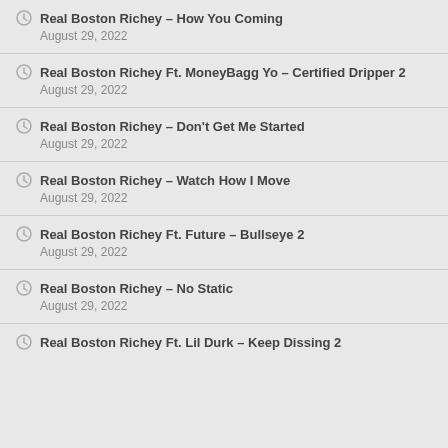Real Boston Richey – How You Coming
August 29, 2022
Real Boston Richey Ft. MoneyBagg Yo – Certified Dripper 2
August 29, 2022
Real Boston Richey – Don't Get Me Started
August 29, 2022
Real Boston Richey – Watch How I Move
August 29, 2022
Real Boston Richey Ft. Future – Bullseye 2
August 29, 2022
Real Boston Richey – No Static
August 29, 2022
Real Boston Richey Ft. Lil Durk – Keep Dissing 2